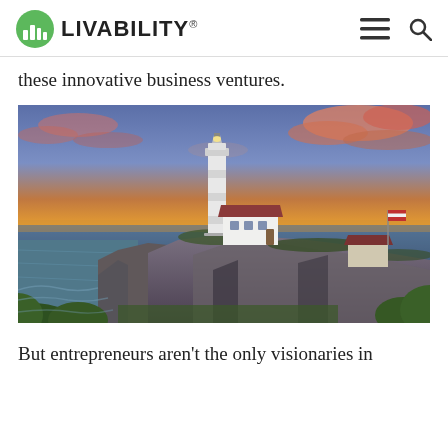LIVABILITY
these innovative business ventures.
[Figure (photo): Lighthouse on a rocky cliff by the ocean at sunset, with pink and blue clouds in the sky, white lighthouse tower with a house below it, American flag visible on right side]
But entrepreneurs aren't the only visionaries in